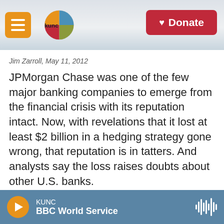KUNC logo and navigation with Donate button
Jim Zarroll, May 11, 2012
JPMorgan Chase was one of the few major banking companies to emerge from the financial crisis with its reputation intact. Now, with revelations that it lost at least $2 billion in a hedging strategy gone wrong, that reputation is in tatters. And analysts say the loss raises doubts about other U.S. banks.
LISTEN • 4:13
NPR News
Goldman Sachs Starts To Fire Back At Exec Who Quit In
KUNC — BBC World Service